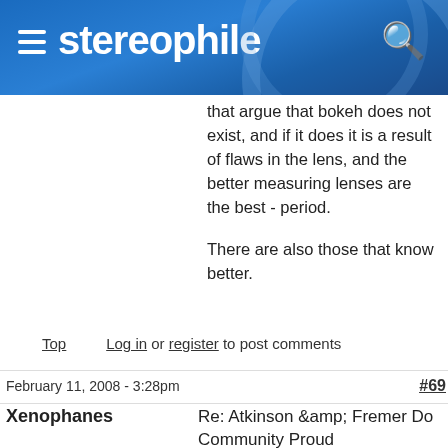stereophile
that argue that bokeh does not exist, and if it does it is a result of flaws in the lens, and the better measuring lenses are the best - period.

There are also those that know better.
Top   Log in or register to post comments
February 11, 2008 - 3:28pm   #69
Xenophanes   Re: Atkinson &amp; Fremer Do Community Proud